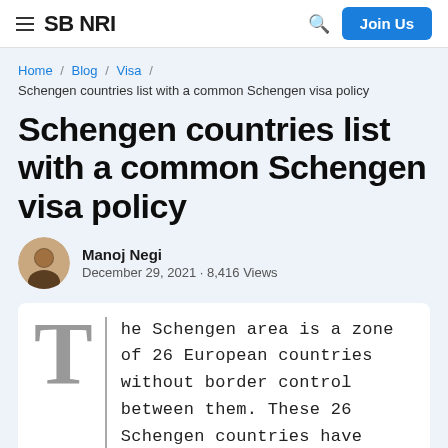SB NRI | Join Us
Home / Blog / Visa / Schengen countries list with a common Schengen visa policy
Schengen countries list with a common Schengen visa policy
Manoj Negi
December 29, 2021 · 8,416 Views
The Schengen area is a zone of 26 European countries without border control between them. These 26 Schengen countries have